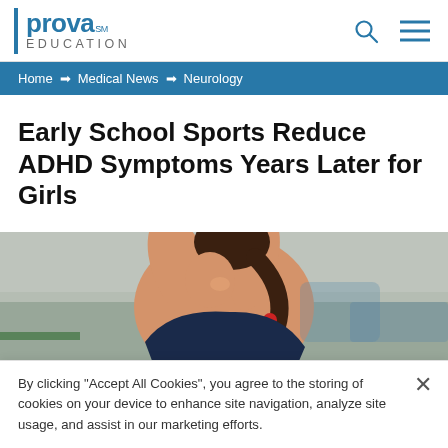prova EDUCATION
Home → Medical News → Neurology
Early School Sports Reduce ADHD Symptoms Years Later for Girls
[Figure (photo): A young girl with a ponytail in athletic motion, appears to be playing sports in a gymnasium setting]
By clicking "Accept All Cookies", you agree to the storing of cookies on your device to enhance site navigation, analyze site usage, and assist in our marketing efforts.